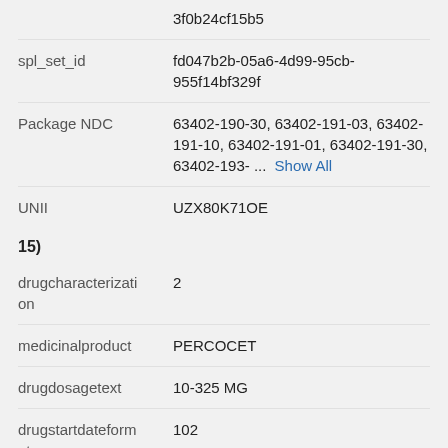3f0b24cf15b5
| Field | Value |
| --- | --- |
| spl_set_id | fd047b2b-05a6-4d99-95cb-955f14bf329f |
| Package NDC | 63402-190-30, 63402-191-03, 63402-191-10, 63402-191-01, 63402-191-30, 63402-193- ... Show All |
| UNII | UZX80K71OE |
15)
| Field | Value |
| --- | --- |
| drugcharacterization | 2 |
| medicinalproduct | PERCOCET |
| drugdosagetext | 10-325 MG |
| drugstartdateformat | 102 |
| drugstartdate | 11/01/2012 |